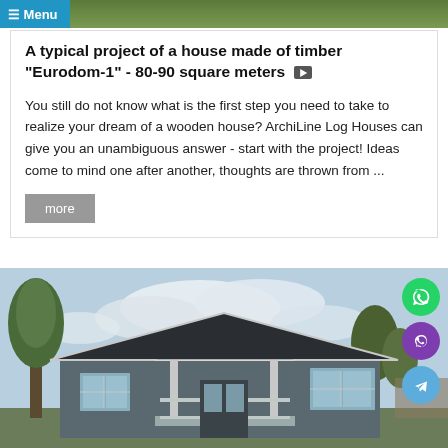≡ Menu
A typical project of a house made of timber "Eurodom-1" - 80-90 square meters ▶
You still do not know what is the first step you need to take to realize your dream of a wooden house? ArchiLine Log Houses can give you an unambiguous answer - start with the project! Ideas come to mind one after another, thoughts are thrown from ...
more
[Figure (photo): Exterior photo of a timber log house "Eurodom-1" with dark grey walls, white trim, pitched roof, trees in background, blue sky with clouds. Social media floating action buttons visible on right side (WhatsApp green, Viber purple, Telegram blue).]